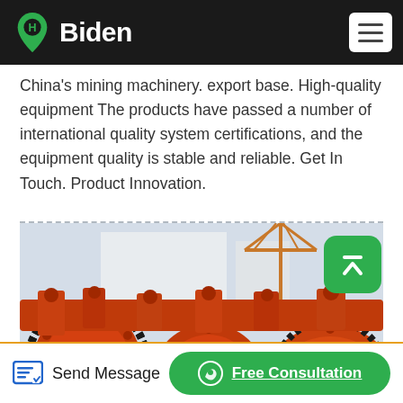Biden
China's mining machinery. export base. High-quality equipment The products have passed a number of international quality system certifications, and the equipment quality is stable and reliable. Get In Touch. Product Innovation.
[Figure (photo): Industrial orange mining ball mill machinery with large circular drums, gears, and metal flanges arranged in a row at an industrial facility.]
Send Message | Free Consultation